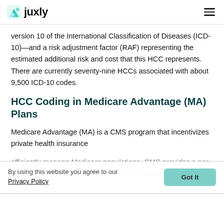Juxly
version 10 of the International Classification of Diseases (ICD-10)—and a risk adjustment factor (RAF) representing the estimated additional risk and cost that this HCC represents. There are currently seventy-nine HCCs associated with about 9,500 ICD-10 codes.
HCC Coding in Medicare Advantage (MA) Plans
Medicare Advantage (MA) is a CMS program that incentivizes private health insurance ...efficiently manage Medicare populations. CMS provides a per-patient capitated monthly payment to the payor for
By using this website you agree to our Privacy Policy